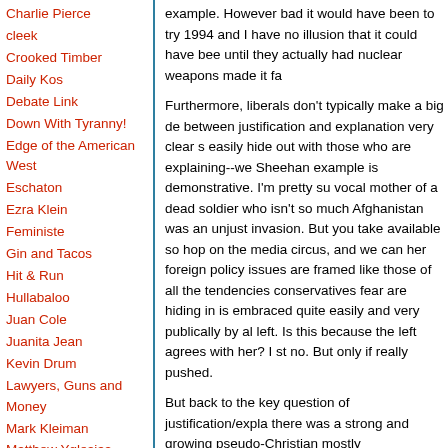Charlie Pierce
cleek
Crooked Timber
Daily Kos
Debate Link
Down With Tyranny!
Edge of the American West
Eschaton
Ezra Klein
Feministe
Gin and Tacos
Hit & Run
Hullabaloo
Juan Cole
Juanita Jean
Kevin Drum
Lawyers, Guns and Money
Mark Kleiman
Matthew Yglesias
Maxspeak
Mercury Rising
Michael Cain's Random
example.  However bad it would have been to try 1994 and I have no illusion that it could have been until they actually had nuclear weapons made it fa
Furthermore, liberals don't typically make a big de between justification and explanation very clear s easily hide out with those who are explaining--we Sheehan example is demonstrative.  I'm pretty su vocal mother of a dead soldier who isn't so much Afghanistan was an unjust invasion.  But you take available so hop on the media circus, and we can her foreign policy issues are framed like those of all the tendencies conservatives fear are hiding in is embraced quite easily and very publically by al left.  Is this because the left agrees with her?  I s no.  But only if really pushed.
But back to the key question of justification/expla there was a strong and growing pseudo-Christian mostly unreasonable and irrational greivances ag Eventually Timothy James McVeigh blew up the O was loosely tied to a number of militia-oriented gr many of their talking points.  Some people used th for being weak on security, and I'm sure that som